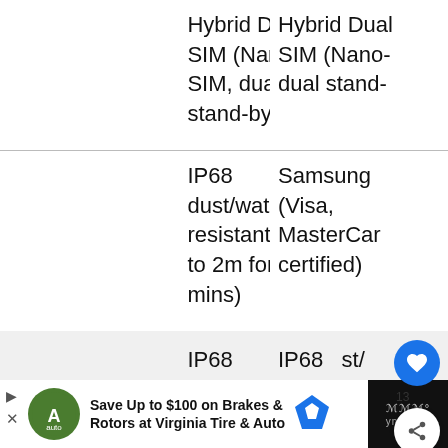| Col1 | Col2 |
| --- | --- |
|  | Hybrid Dual SIM (Nano-SIM, dual stand-by) | Hybrid Dual SIM (Nano- SIM (Nano-dual stand- |
|  | IP68 dust/water resistant (up to 2m for 30 mins) | Samsung (Visa, MasterCar certified) |
|  |  | IP68 dust/ proof p 1.5m : 3 mins) |